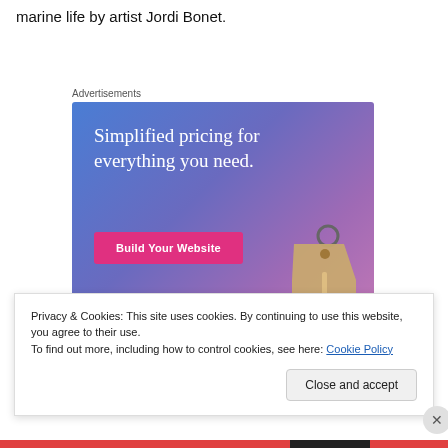marine life by artist Jordi Bonet.
Advertisements
[Figure (illustration): Advertisement banner with gradient blue-purple background showing a price tag image and text 'Simplified pricing for everything you need.' with a pink 'Build Your Website' button.]
Privacy & Cookies: This site uses cookies. By continuing to use this website, you agree to their use.
To find out more, including how to control cookies, see here: Cookie Policy
Close and accept